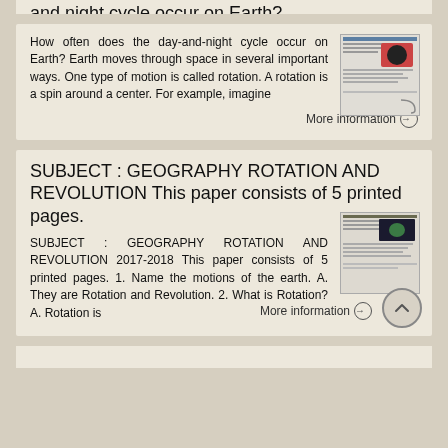and night cycle occur on Earth?
How often does the day-and-night cycle occur on Earth? Earth moves through space in several important ways. One type of motion is called rotation. A rotation is a spin around a center. For example, imagine
[Figure (screenshot): Thumbnail image of a document page about day-and-night cycle]
More information →
SUBJECT : GEOGRAPHY ROTATION AND REVOLUTION This paper consists of 5 printed pages.
SUBJECT : GEOGRAPHY ROTATION AND REVOLUTION 2017-2018 This paper consists of 5 printed pages. 1. Name the motions of the earth. A. They are Rotation and Revolution. 2. What is Rotation? A. Rotation is
[Figure (screenshot): Thumbnail image of a document page about Geography Rotation and Revolution 2017-2018]
More information →